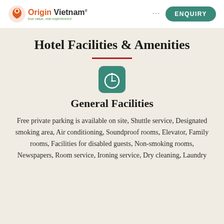Origin Vietnam® — true value, real experiences! … ENQUIRY
Hotel Facilities & Amenities
[Figure (illustration): Teal rounded-square icon with a white stopwatch/timer symbol]
General Facilities
Free private parking is available on site, Shuttle service, Designated smoking area, Air conditioning, Soundproof rooms, Elevator, Family rooms, Facilities for disabled guests, Non-smoking rooms, Newspapers, Room service, Ironing service, Dry cleaning, Laundry